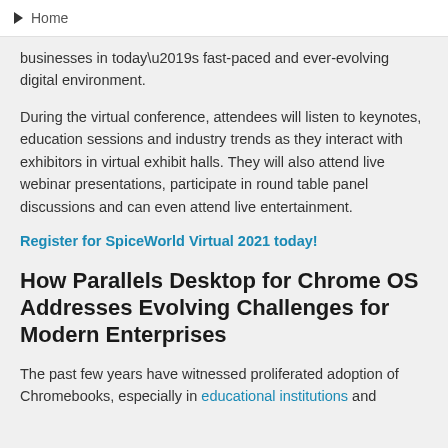Home
businesses in today’s fast-paced and ever-evolving digital environment.
During the virtual conference, attendees will listen to keynotes, education sessions and industry trends as they interact with exhibitors in virtual exhibit halls. They will also attend live webinar presentations, participate in round table panel discussions and can even attend live entertainment.
Register for SpiceWorld Virtual 2021 today!
How Parallels Desktop for Chrome OS Addresses Evolving Challenges for Modern Enterprises
The past few years have witnessed proliferated adoption of Chromebooks, especially in educational institutions and